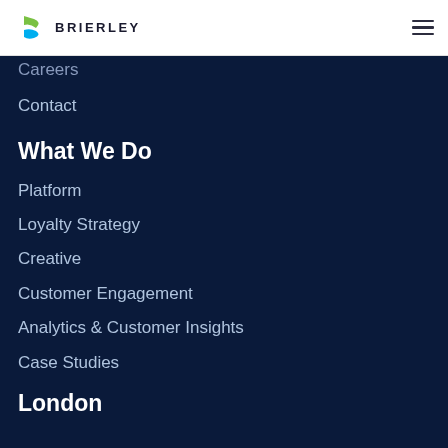BRIERLEY
Careers
Contact
What We Do
Platform
Loyalty Strategy
Creative
Customer Engagement
Analytics & Customer Insights
Case Studies
London